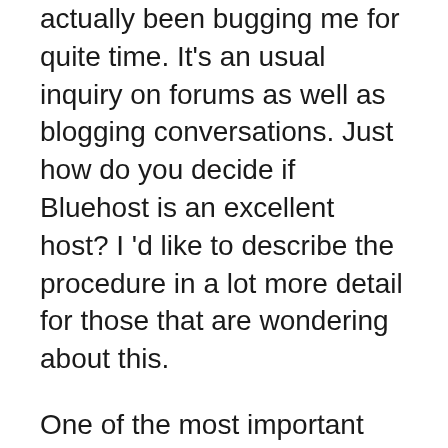actually been bugging me for quite time. It's an usual inquiry on forums as well as blogging conversations. Just how do you decide if Bluehost is an excellent host? I 'd like to describe the procedure in a lot more detail for those that are wondering about this.
One of the most important point to search for when determining whether to host with Bluehost is dependability. Bluehost is by far one of the most reliable host company I've had the pleasure of using over the past couple of years.
Bluehost uses their very own handled servers. There is no demand to worry about downtime. For me, that is just one of the